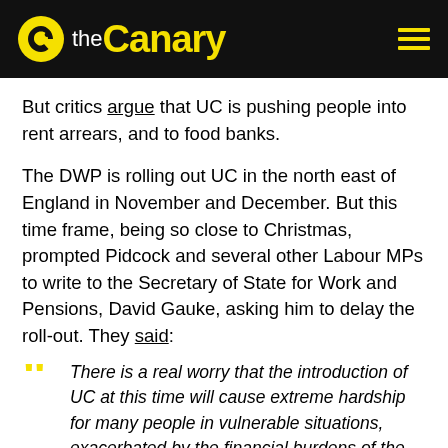the Canary
But critics argue that UC is pushing people into rent arrears, and to food banks.
The DWP is rolling out UC in the north east of England in November and December. But this time frame, being so close to Christmas, prompted Pidcock and several other Labour MPs to write to the Secretary of State for Work and Pensions, David Gauke, asking him to delay the roll-out. They said:
There is a real worry that the introduction of UC at this time will cause extreme hardship for many people in vulnerable situations, exacerbated by the financial burdens of the festive period… The current timetable will cause our residents severe hardship over the months which are most financially difficult. We urge David Gauke, Secretary of State for Work and